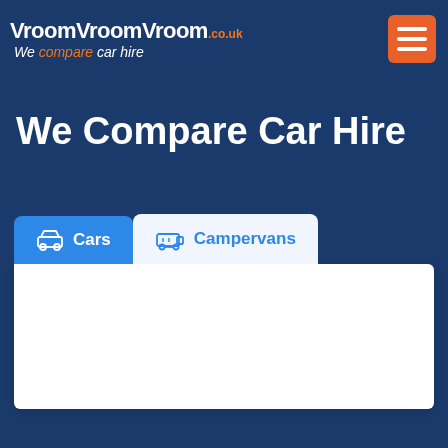VroomVroomVroom.co.uk — We compare car hire
We Compare Car Hire
Cars
Campervans